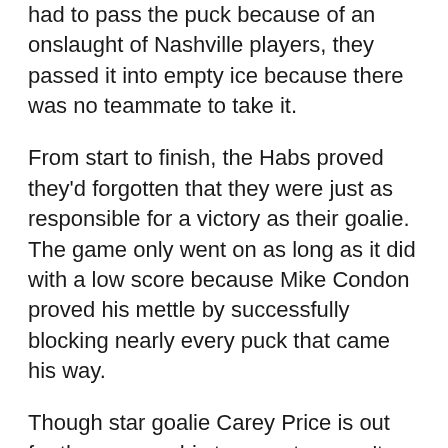had to pass the puck because of an onslaught of Nashville players, they passed it into empty ice because there was no teammate to take it.
From start to finish, the Habs proved they'd forgotten that they were just as responsible for a victory as their goalie. The game only went on as long as it did with a low score because Mike Condon proved his mettle by successfully blocking nearly every puck that came his way.
Though star goalie Carey Price is out for the season, his teammates aren't picking up the slack. Instead of coordinating themselves to get as many goals as possible and block their opponents, they seem to ignore their net and hope that their goalie can do all the work.
The Canadiens' only goal was scored by Brendan